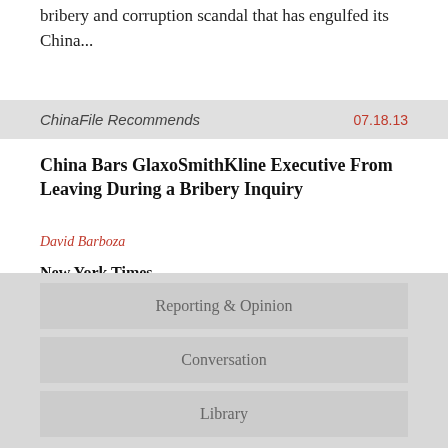bribery and corruption scandal that has engulfed its China...
ChinaFile Recommends  07.18.13
China Bars GlaxoSmithKline Executive From Leaving During a Bribery Inquiry
David Barboza
New York Times
The effort to restrict Steve Nechelput’s travel came as the government ramped up an unusually bold anti-corruption campaign against GlaxoSmithKline, which is one of the world’s biggest drug makers.
Reporting & Opinion
Conversation
Library